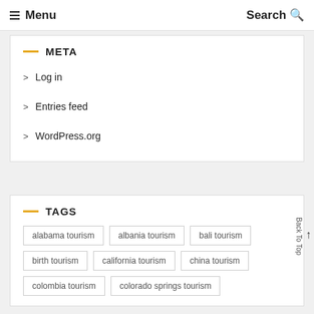Menu | Search
META
Log in
Entries feed
WordPress.org
TAGS
alabama tourism
albania tourism
bali tourism
birth tourism
california tourism
china tourism
colombia tourism
colorado springs tourism
Back To Top